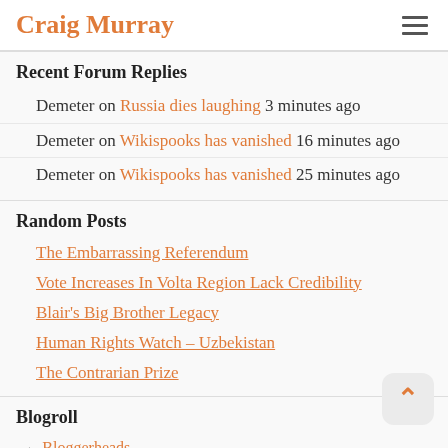Craig Murray
Recent Forum Replies
Demeter on Russia dies laughing 3 minutes ago
Demeter on Wikispooks has vanished 16 minutes ago
Demeter on Wikispooks has vanished 25 minutes ago
Random Posts
The Embarrassing Referendum
Vote Increases In Volta Region Lack Credibility
Blair's Big Brother Legacy
Human Rights Watch – Uzbekistan
The Contrarian Prize
Blogroll
Bloggerheads